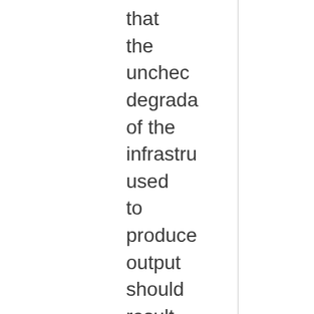that the unchecked degradation of the infrastructure used to produce output should result in a total collapse because in the real world